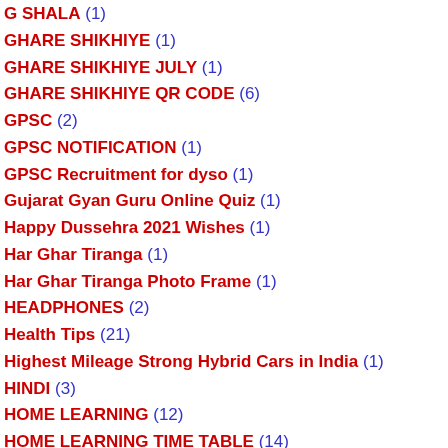G SHALA (1)
GHARE SHIKHIYE (1)
GHARE SHIKHIYE JULY (1)
GHARE SHIKHIYE QR CODE (6)
GPSC (2)
GPSC NOTIFICATION (1)
GPSC Recruitment for dyso (1)
Gujarat Gyan Guru Online Quiz (1)
Happy Dussehra 2021 Wishes (1)
Har Ghar Tiranga (1)
Har Ghar Tiranga Photo Frame (1)
HEADPHONES (2)
Health Tips (21)
Highest Mileage Strong Hybrid Cars in India (1)
HINDI (3)
HOME LEARNING (12)
HOME LEARNING TIME TABLE (14)
HOME LEARNING VIDEO 2021 (21)
HOMEWORK (30)